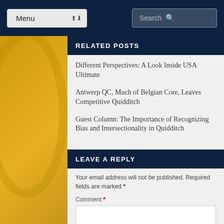Menu | Search
RELATED POSTS
Different Perspectives: A Look Inside USA Ultimate
Antwerp QC, Much of Belgian Core, Leaves Competitive Quidditch
Guest Column: The Importance of Recognizing Bias and Intersectionality in Quidditch
LEAVE A REPLY
Your email address will not be published. Required fields are marked *
Comment *